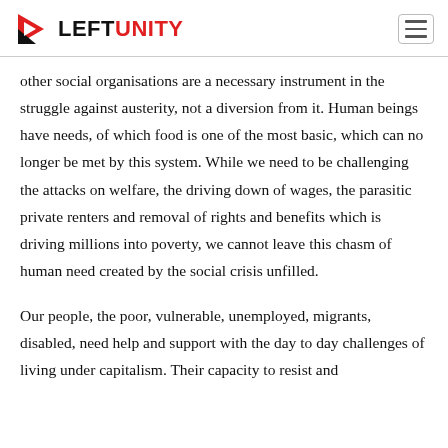LEFT UNITY
other social organisations are a necessary instrument in the struggle against austerity, not a diversion from it. Human beings have needs, of which food is one of the most basic, which can no longer be met by this system. While we need to be challenging the attacks on welfare, the driving down of wages, the parasitic private renters and removal of rights and benefits which is driving millions into poverty, we cannot leave this chasm of human need created by the social crisis unfilled.
Our people, the poor, vulnerable, unemployed, migrants, disabled, need help and support with the day to day challenges of living under capitalism. Their capacity to resist and